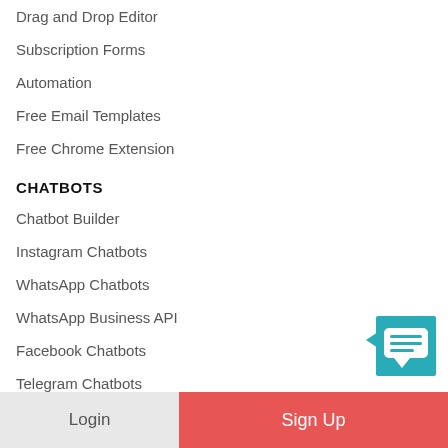Drag and Drop Editor
Subscription Forms
Automation
Free Email Templates
Free Chrome Extension
CHATBOTS
Chatbot Builder
Instagram Chatbots
WhatsApp Chatbots
WhatsApp Business API
Facebook Chatbots
Telegram Chatbots
Chatbot Signup Widgets
[Figure (illustration): Chat widget icon — teal square with white speech bubble containing three horizontal lines, with a small left-pointing arrow tab on the left side]
Login  Sign Up